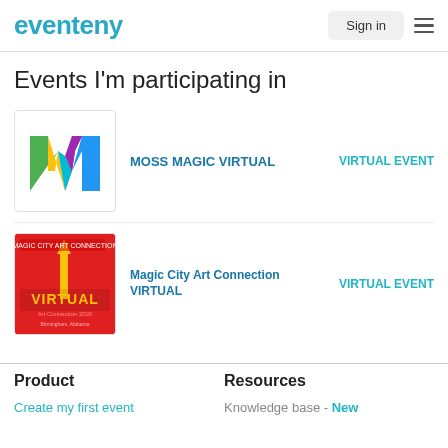eventeny | Sign in
Events I'm participating in
MOSS MAGIC VIRTUAL — VIRTUAL EVENT
[Figure (logo): Moss Magic Virtual colorful M logo]
Magic City Art Connection VIRTUAL — VIRTUAL EVENT
[Figure (logo): Magic City Art Connection Virtual red logo with VIRTUAL text]
Product
Create my first event
Resources
Knowledge base - New